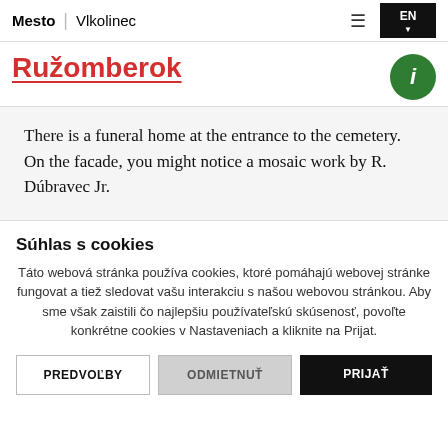Mesto | Vlkolinec
Ružomberok
There is a funeral home at the entrance to the cemetery. On the facade, you might notice a mosaic work by R. Dúbravec Jr.
Súhlas s cookies
Táto webová stránka používa cookies, ktoré pomáhajú webovej stránke fungovat a tiež sledovat vašu interakciu s našou webovou stránkou. Aby sme však zaistili čo najlepšiu používateľskú skúsenosť, povoľte konkrétne cookies v Nastaveniach a kliknite na Prijat.
PREDVOĽBY | ODMIETNUŤ | PRIJAŤ